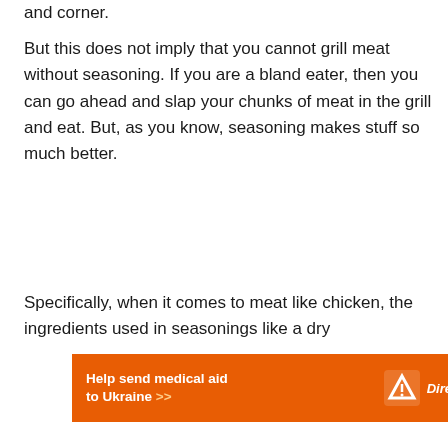and corner.
But this does not imply that you cannot grill meat without seasoning. If you are a bland eater, then you can go ahead and slap your chunks of meat in the grill and eat. But, as you know, seasoning makes stuff so much better.
Specifically, when it comes to meat like chicken, the ingredients used in seasonings like a dry
[Figure (other): Orange advertisement banner for Direct Relief: 'Help send medical aid to Ukraine >>' with Direct Relief logo on the right]